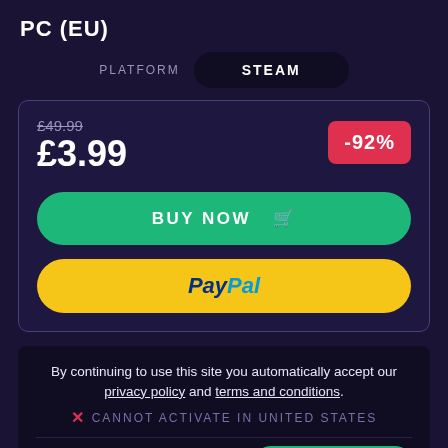PC (EU)
PLATFORM   STEAM
£49.99
£3.99
-92%
BUY NOW
[Figure (logo): PayPal button with yellow background]
By continuing to use this site you automatically accept our privacy policy and terms and conditions.
CANNOT ACTIVATE IN UNITED STATES
CURRENTLY    ALLOW COOKIES